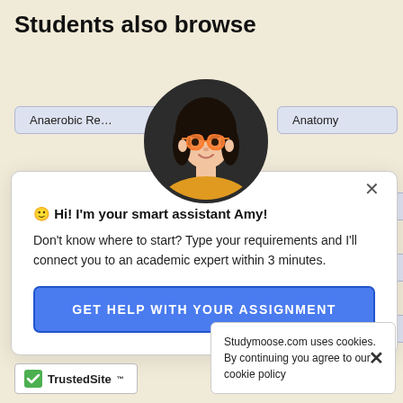Students also browse
[Figure (illustration): Screenshot of a website section titled 'Students also browse' with subject tag buttons (Anaerobic Re..., Anatomy, ...versity, ...d Pressure, Cell), an AI chat assistant popup featuring an animated avatar of a girl with glasses and dark hair wearing a yellow top, with a message 'Hi! I'm your smart assistant Amy! Don't know where to start? Type your requirements and I'll connect you to an academic expert within 3 minutes.' and a blue CTA button 'GET HELP WITH YOUR ASSIGNMENT', plus a cookie notice and TrustedSite badge.]
Anaerobic Re
Anatomy
versity
d Pressure
Cell
🙂 Hi! I'm your smart assistant Amy!
Don't know where to start? Type your requirements and I'll connect you to an academic expert within 3 minutes.
GET HELP WITH YOUR ASSIGNMENT
Studymoose.com uses cookies. By continuing you agree to our cookie policy
TrustedSite